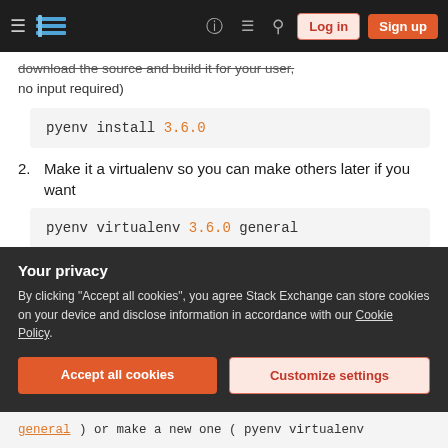Stack Exchange navigation bar with hamburger menu, logo, help, chat, search icons, Log in and Sign up buttons
download the source and build it for your user, no input required)
pyenv install 3.6.0
2. Make it a virtualenv so you can make others later if you want
pyenv virtualenv 3.6.0 general
3. Make it globally active (for your user)
pyenv global general
Your privacy
By clicking "Accept all cookies", you agree Stack Exchange can store cookies on your device and disclose information in accordance with our Cookie Policy.
Accept all cookies  Customize settings
general ) or make a new one ( pyenv virtualenv